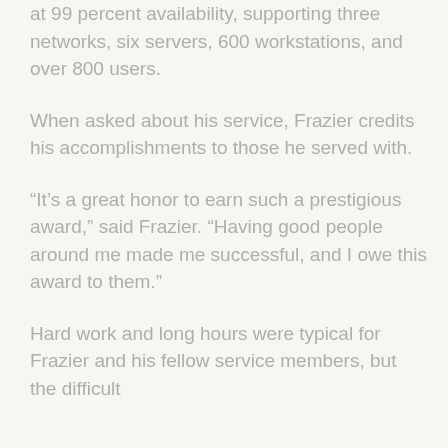at 99 percent availability, supporting three networks, six servers, 600 workstations, and over 800 users.
When asked about his service, Frazier credits his accomplishments to those he served with.
“It’s a great honor to earn such a prestigious award,” said Frazier. “Having good people around me made me successful, and I owe this award to them.”
Hard work and long hours were typical for Frazier and his fellow service members, but the difficult